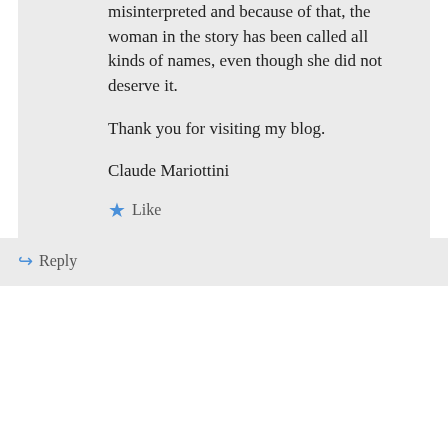misinterpreted and because of that, the woman in the story has been called all kinds of names, even though she did not deserve it.
Thank you for visiting my blog.
Claude Mariottini
★ Like
↪ Reply
View Full Site
Blog at WordPress.com.